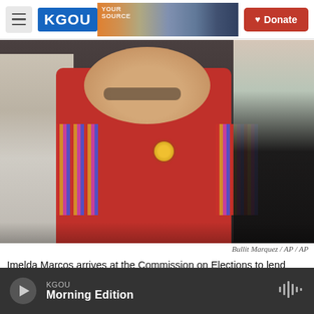KGOU | Donate
[Figure (photo): Imelda Marcos wearing a red outfit with gold brooch and striped sleeves, arriving surrounded by people]
Bullit Marquez / AP / AP
Imelda Marcos arrives at the Commission on Elections to lend support for her daughter Imee Marcos in filing her candidacy for a Senate seat in 2018 in Manila.
KGOU Morning Edition